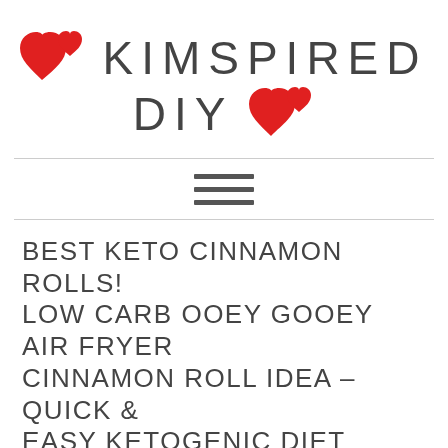KIMSPIRED DIY
[Figure (logo): Kimspired DIY logo with red hearts and text]
BEST KETO CINNAMON ROLLS! LOW CARB OOEY GOOEY AIR FRYER CINNAMON ROLL IDEA – QUICK & EASY KETOGENIC DIET RECIPE – COMPLETELY KETO FRIENDLY